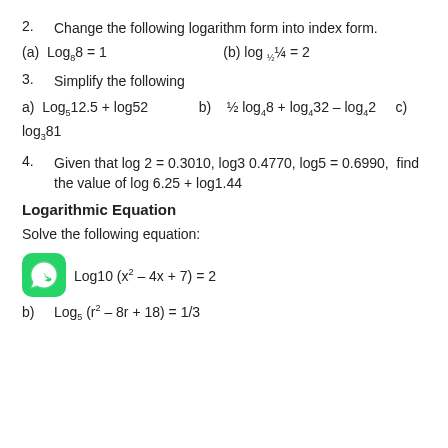2. Change the following logarithm form into index form.
(a) Log_8 8 = 1    (b) log_(1/2) 1/4 = 2
3. Simplify the following
a) Log_5 12.5 + log52    b) 1/2 log_4 8 + log_4 32 - log_4 2    c) log_3 81
4. Given that log 2 = 0.3010, log3 0.4770, log5 = 0.6990, find the value of log 6.25 + log1.44
Logarithmic Equation
Solve the following equation: